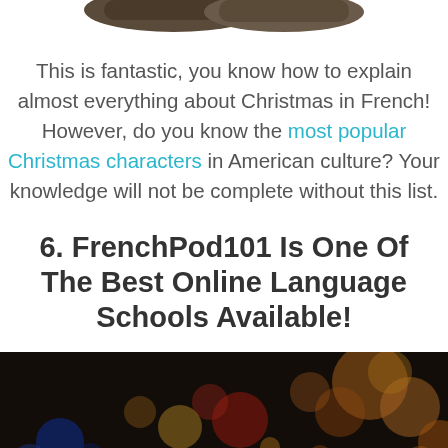[Figure (photo): Partial view of dark shoes/boots at the top of the page, cropped]
This is fantastic, you know how to explain almost everything about Christmas in French! However, do you know the most popular Christmas characters in American culture? Your knowledge will not be complete without this list.
6. FrenchPod101 Is One Of The Best Online Language Schools Available!
[Figure (photo): Bokeh photo of colorful blurred Christmas lights (orange, red, blue) against a dark background]